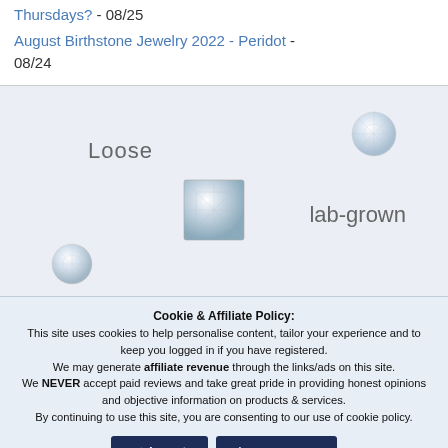Thursdays? - 08/25
August Birthstone Jewelry 2022 - Peridot - 08/24
[Figure (photo): Loose lab-grown diamonds on a light grey background showing multiple cut diamonds with text labels 'Loose' and 'lab-grown']
Cookie & Affiliate Policy: This site uses cookies to help personalise content, tailor your experience and to keep you logged in if you have registered. We may generate affiliate revenue through the links/ads on this site. We NEVER accept paid reviews and take great pride in providing honest opinions and objective information on products & services. By continuing to use this site, you are consenting to our use of cookie policy.